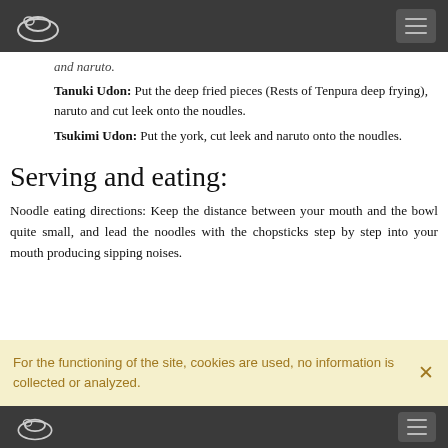[navigation bar with logo and hamburger menu]
and naruto.
Tanuki Udon: Put the deep fried pieces (Rests of Tenpura deep frying), naruto and cut leek onto the noudles.
Tsukimi Udon: Put the york, cut leek and naruto onto the noudles.
Serving and eating:
Noodle eating directions: Keep the distance between your mouth and the bowl quite small, and lead the noodles with the chopsticks step by step into your mouth producing sipping noises.
For the functioning of the site, cookies are used, no information is collected or analyzed.
[navigation bar with logo and hamburger menu]